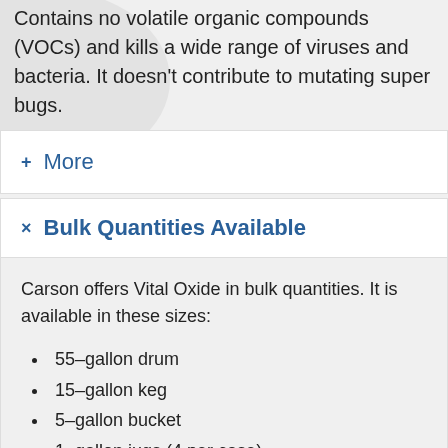Contains no volatile organic compounds (VOCs) and kills a wide range of viruses and bacteria. It doesn't contribute to mutating super bugs.
+ More
× Bulk Quantities Available
Carson offers Vital Oxide in bulk quantities. It is available in these sizes:
55–gallon drum
15–gallon keg
5–gallon bucket
1–gallon jugs (4 per case)